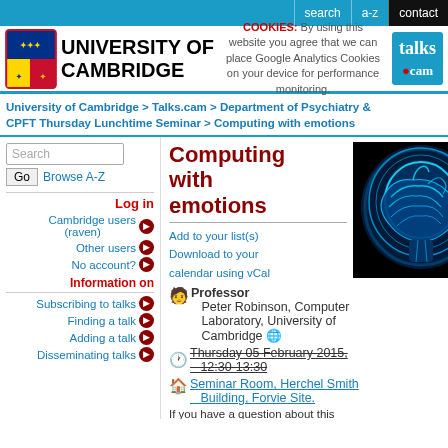search | a-z | contact
[Figure (logo): University of Cambridge shield logo and name, cookie notice, talks.cam logo]
COOKIES: By using this website you agree that we can place Google Analytics Cookies on your device for performance monitoring.
University of Cambridge > Talks.cam > Department of Psychiatry & CPFT Thursday Lunchtime Seminar > Computing with emotions
Search | Go | Browse A-Z
Log in
Cambridge users (raven)
Other users
No account?
Information on
Subscribing to talks
Finding a talk
Adding a talk
Disseminating talks
Computing with emotions
Add to your list(s) Download to your calendar using vCal
[Figure (photo): Blue glowing brain X-ray style image on black background]
Professor Peter Robinson, Computer Laboratory, University of Cambridge
Thursday 05 February 2015, 12:30-13:30
Seminar Room, Herchel Smith Building, Forvie Site.
If you have a question about this talk, please contact this person.